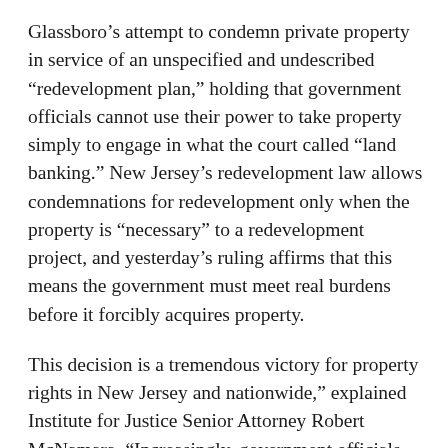Glassboro’s attempt to condemn private property in service of an unspecified and undescribed “redevelopment plan,” holding that government officials cannot use their power to take property simply to engage in what the court called “land banking.” New Jersey’s redevelopment law allows condemnations for redevelopment only when the property is “necessary” to a redevelopment project, and yesterday’s ruling affirms that this means the government must meet real burdens before it forcibly acquires property.
This decision is a tremendous victory for property rights in New Jersey and nationwide,” explained Institute for Justice Senior Attorney Robert McNamara. “Increasingly, government officials are using the power of eminent domain to turn themselves into real estate speculators, seizing land in the hopes that some